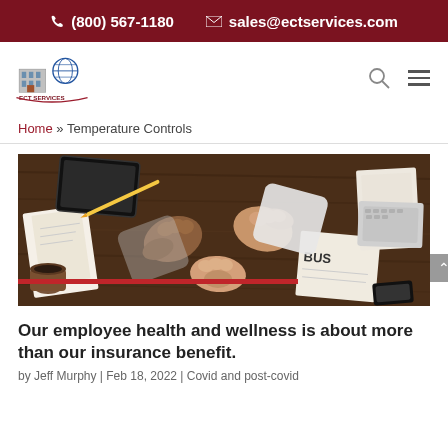(800) 567-1180   sales@ectservices.com
[Figure (logo): ECT Services company logo with building and globe icon]
Home » Temperature Controls
[Figure (photo): Overhead photo of people doing a fist bump over a wooden desk covered with papers, tablets, and office items. A red horizontal bar is overlaid near the bottom of the image.]
Our employee health and wellness is about more than our insurance benefit.
by Jeff Murphy | Feb 18, 2022 | Covid and post-covid